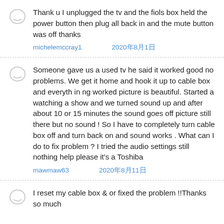Thank u I unplugged the tv and the fiols box held the power button then plug all back in and the mute button was off thanks
michelemccray1 　　　　2020年8月1日
Someone gave us a used tv he said it worked good no problems. We get it home and hook it up to cable box and everyth in ng worked picture is beautiful. Started a watching a show and we turned sound up and after about 10 or 15 minutes the sound goes off picture still there but no sound ! So I have to completely turn cable box off and turn back on and sound works . What can I do to fix problem ? I tried the audio settings still nothing help please it's a Toshiba
mawmaw63 　　　　2020年8月11日
I reset my cable box & or fixed the problem !!Thanks so much